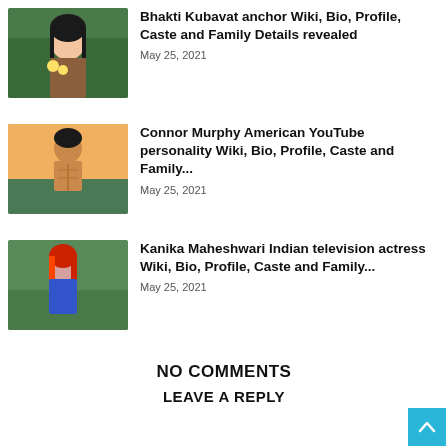[Figure (photo): Young woman holding yellow flowers, dark hair, green background]
Bhakti Kubavat anchor Wiki, Bio, Profile, Caste and Family Details revealed
May 25, 2021
[Figure (photo): Athletic shirtless young man outdoors, sunset background]
Connor Murphy American YouTube personality Wiki, Bio, Profile, Caste and Family...
May 25, 2021
[Figure (photo): Young woman with red-orange hair in blue outfit]
Kanika Maheshwari Indian television actress Wiki, Bio, Profile, Caste and Family...
May 25, 2021
NO COMMENTS
LEAVE A REPLY